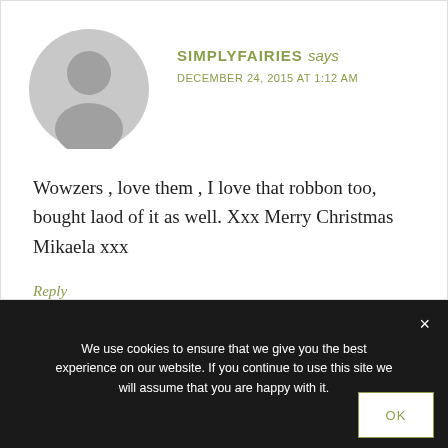[Figure (illustration): Generic grey avatar/profile placeholder icon — circle with person silhouette]
SIMPLYFAIRIES says
DECEMBER 24, 2015 AT 1:12 AM
Wowzers , love them , I love that robbon too, bought laod of it as well. Xxx Merry Christmas Mikaela xxx
Reply
We use cookies to ensure that we give you the best experience on our website. If you continue to use this site we will assume that you are happy with it.
OK